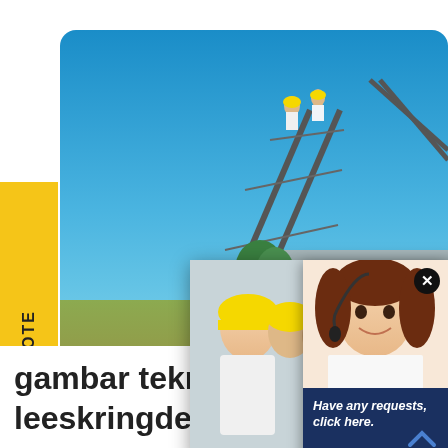[Figure (photo): Industrial conveyor belt structure with workers in yellow hard hats, blue sky background, construction site]
REQUEST A QUOTE
[Figure (screenshot): Live chat popup with woman in hard hat, LIVE CHAT title in red, 'Click for a Free Consultation', Chat now and Chat later buttons]
[Figure (screenshot): Customer service popup on right with woman wearing headset, 'Have any requests, click here.' text, Quotation button]
C&M M
gambar teknis belt conveyor leeskringdemapnl